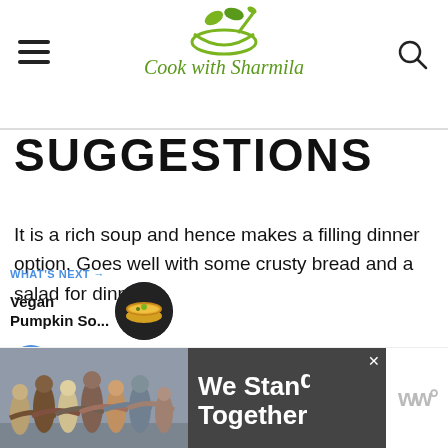Cook with Sharmila
SUGGESTIONS
It is a rich soup and hence makes a filling dinner option. Goes well with some crusty bread and a salad for dinner.
[Figure (infographic): Social sidebar with heart/like button showing count 7, and a share button]
[Figure (infographic): What's Next teaser: Vegan Pumpkin So... with circular soup image]
[Figure (photo): Advertisement banner: group of people from behind with text 'We Stand Together' and a close button]